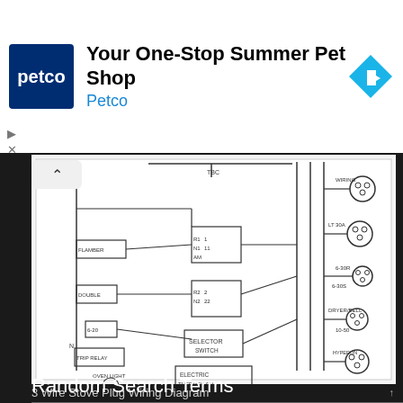[Figure (screenshot): Advertisement banner for Petco: 'Your One-Stop Summer Pet Shop' with Petco logo (blue square with white petco text) and a blue diamond navigation arrow icon on the right.]
[Figure (schematic): 3 Wire Stove Plug Wiring Diagram showing a complex electrical wiring schematic with components including selector switch, electric thermostat, oven light, and various electrical connectors/outlets depicted with lines and boxes on a white background.]
3 Wire Stove Plug Wiring Diagram
Random Search Terms